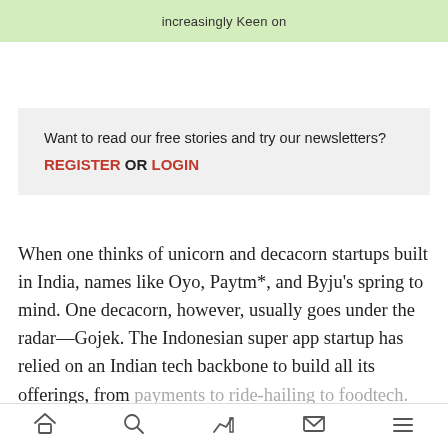increasingly Keen on
Want to read our free stories and try our newsletters?
REGISTER OR LOGIN
When one thinks of unicorn and decacorn startups built in India, names like Oyo, Paytm*, and Byju's spring to mind. One decacorn, however, usually goes under the radar—Gojek. The Indonesian super app startup has relied on an Indian tech backbone to build all its offerings, from payments to ride-hailing to foodtech.
Goj...